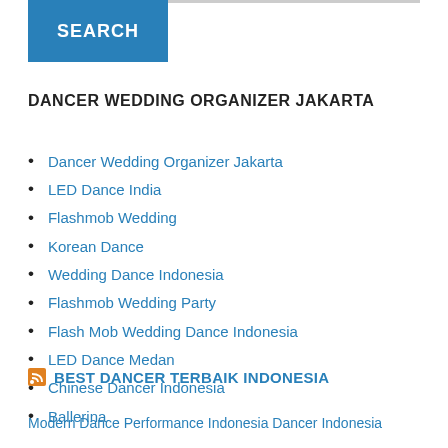[Figure (other): Blue SEARCH button]
DANCER WEDDING ORGANIZER JAKARTA
Dancer Wedding Organizer Jakarta
LED Dance India
Flashmob Wedding
Korean Dance
Wedding Dance Indonesia
Flashmob Wedding Party
Flash Mob Wedding Dance Indonesia
LED Dance Medan
Chinese Dancer Indonesia
Ballerina
BEST DANCER TERBAIK INDONESIA
Modern Dance Performance Indonesia Dancer Indonesia